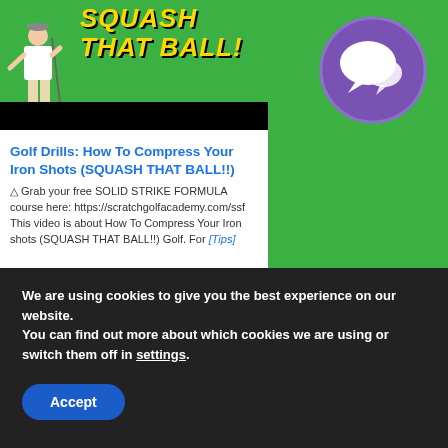[Figure (screenshot): Golf tutorial video thumbnail showing a golfer and 'SQUASH THAT BALL!' text in yellow italic font on green background]
[Figure (illustration): Purple circle with white chat/speech bubble icons overlay on green background]
Golf Drills: How To Compress Your Iron Shots (SQUASH THAT BALL!!)
◁ Grab your free SOLID STRIKE FORMULA course here: https://scratchgolfacademy.com/ssf This video is about How To Compress Your Iron shots (SQUASH THAT BALL!!) Golf. For [Tips]
3,231 views
★★★★★
We are using cookies to give you the best experience on our website.
You can find out more about which cookies we are using or switch them off in settings.
Accept